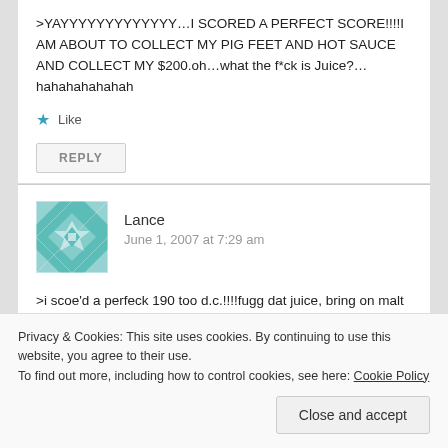>YAYYYYYYYYYYYYY…I SCORED A PERFECT SCORE!!!!I AM ABOUT TO COLLECT MY PIG FEET AND HOT SAUCE AND COLLECT MY $200.oh…what the f*ck is Juice?…hahahahahahah
★ Like
REPLY
Lance
June 1, 2007 at 7:29 am
[Figure (illustration): Teal/green geometric quilt-pattern avatar for user Lance]
>i scoe'd a perfeck 190 too d.c.!!!!fugg dat juice, bring on malt likka!!!!last one tuh da likka stoe buys da fawtys…and a
Privacy & Cookies: This site uses cookies. By continuing to use this website, you agree to their use.
To find out more, including how to control cookies, see here: Cookie Policy
Close and accept